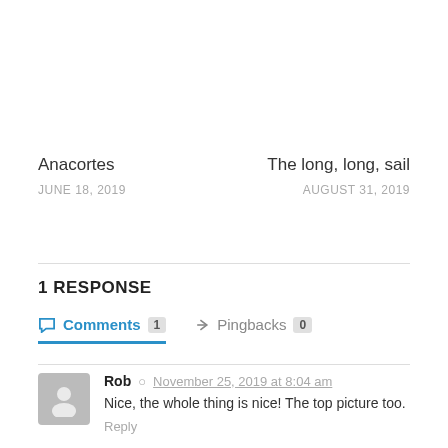Anacortes
JUNE 18, 2019
The long, long, sail
AUGUST 31, 2019
1 RESPONSE
Comments 1   Pingbacks 0
Rob   November 25, 2019 at 8:04 am
Nice, the whole thing is nice! The top picture too.
Reply